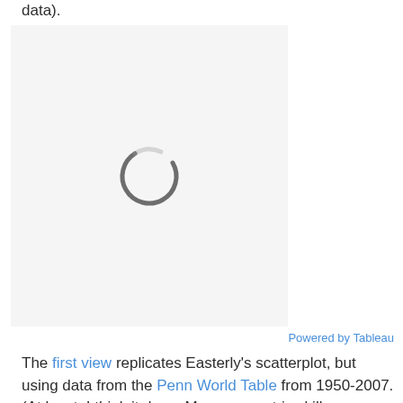data).
[Figure (other): A loading spinner (circular arc) displayed over a light gray background placeholder area, indicating a Tableau visualization is loading.]
Powered by Tableau
The first view replicates Easterly's scatterplot, but using data from the Penn World Table from 1950-2007. (At least, I think it does. My econometric skills are obviously much worse than those of a former World Bank economist, so take that